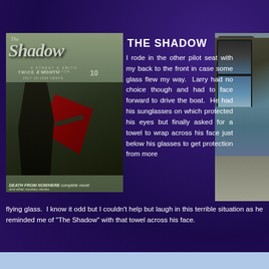[Figure (photo): Cover of The Shadow pulp magazine, showing a caped figure in dark hat and cape with a red lining, holding a gun. Text reads: THE SHADOW, TWICE A MONTH 10, JULY 15, 1939, DEATH FROM NOWHERE complete novel and other mystery stories]
THE SHADOW
I rode in the other pilot seat with my back to the front in case some glass flew my way.  Larry had no choice though and had to face forward to drive the boat.  He had his sunglasses on which protected his eyes but finally asked for a towel to wrap across his face just below his glasses to get protection from more flying glass.  I know it odd but I couldn't help but laugh in this terrible situation as he reminded me of "The Shadow" with that towel across his face.
[Figure (photo): Photo of boat window and water viewed from inside a boat, with ocean visible and boat interior]